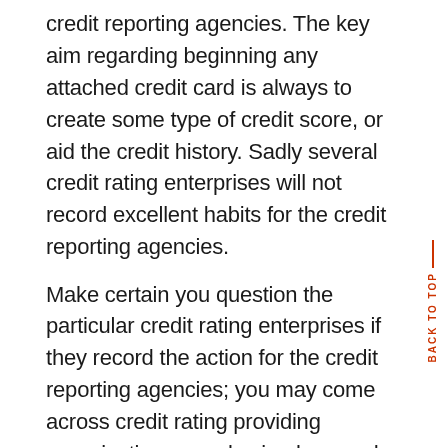credit reporting agencies. The key aim regarding beginning any attached credit card is always to create some type of credit score, or aid the credit history. Sadly several credit rating enterprises will not record excellent habits for the credit reporting agencies.
Make certain you question the particular credit rating enterprises if they record the action for the credit reporting agencies; you may come across credit rating providing organizations people simply record overdue or perhaps overlooked repayments yet will not record action any time you've made your repayments punctually which means credit card is not going to create a excellent credit score to suit your needs.